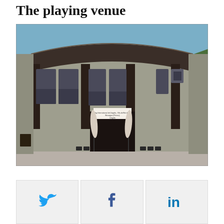The playing venue
[Figure (photo): Exterior photograph of a stone and dark wood building with large windows, serving as a playing venue. Two closed umbrellas and chairs are visible outside the entrance. A banner is displayed at the entrance. Mountains and blue sky visible in background.]
[Figure (infographic): Social media share buttons row: Twitter bird icon (blue), Facebook 'f' icon (blue), LinkedIn 'in' icon (blue), each in a light grey rounded rectangle button.]